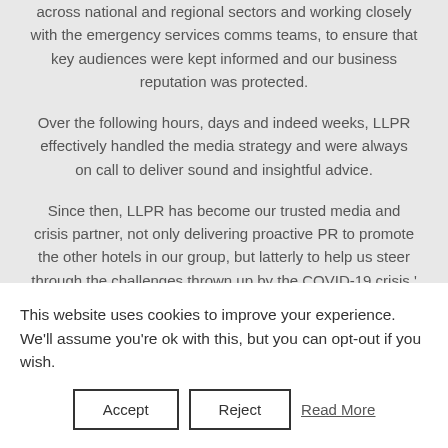across national and regional sectors and working closely with the emergency services comms teams, to ensure that key audiences were kept informed and our business reputation was protected.
Over the following hours, days and indeed weeks, LLPR effectively handled the media strategy and were always on call to deliver sound and insightful advice.
Since then, LLPR has become our trusted media and crisis partner, not only delivering proactive PR to promote the other hotels in our group, but latterly to help us steer through the challenges thrown up by the COVID-19 crisis.'
This website uses cookies to improve your experience. We'll assume you're ok with this, but you can opt-out if you wish.